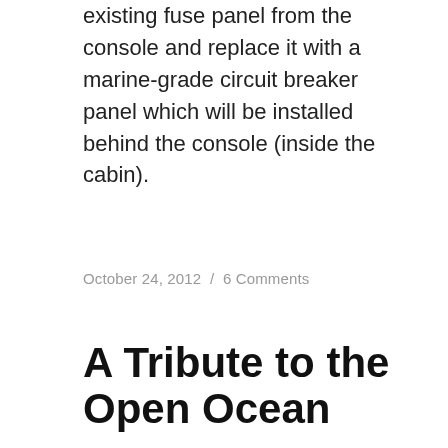existing fuse panel from the console and replace it with a marine-grade circuit breaker panel which will be installed behind the console (inside the cabin).
October 24, 2012  /  6 Comments
A Tribute to the Open Ocean
[Figure (photo): Ocean scene with blue sky above and ocean water below, showing a horizon line with calm open ocean water]